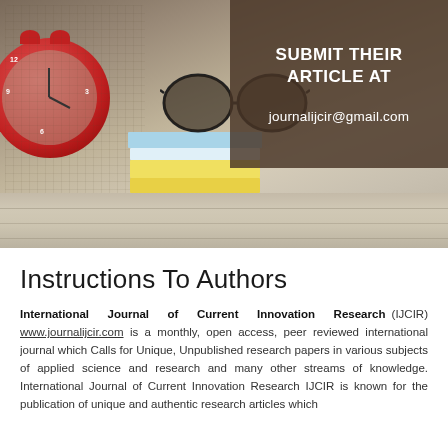[Figure (photo): Banner image showing a desk scene with a red alarm clock, eyeglasses on books, on a wooden surface. A dark brown semi-transparent overlay box in the upper right contains white text reading 'SUBMIT THEIR ARTICLE AT' and 'journalijcir@gmail.com'.]
Instructions To Authors
International Journal of Current Innovation Research (IJCIR) www.journalijcir.com is a monthly, open access, peer reviewed international journal which Calls for Unique, Unpublished research papers in various subjects of applied science and research and many other streams of knowledge. International Journal of Current Innovation Research IJCIR is known for the publication of unique and authentic research articles which